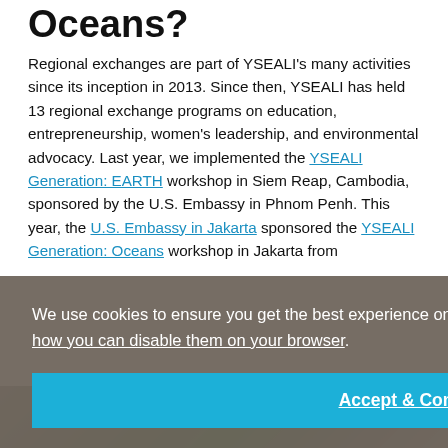Oceans?
Regional exchanges are part of YSEALI's many activities since its inception in 2013. Since then, YSEALI has held 13 regional exchange programs on education, entrepreneurship, women's leadership, and environmental advocacy. Last year, we implemented the YSEALI Generation: EARTH workshop in Siem Reap, Cambodia, sponsored by the U.S. Embassy in Phnom Penh. This year, the U.S. Embassy in Jakarta sponsored the YSEALI Generation: Oceans workshop in Jakarta from
We use cookies to ensure you get the best experience on our website. Learn about how we use cookies or how you can disable them on your browser.
Accept & Continue
[Figure (photo): Partial photo visible at bottom of page showing people, partially obscured by cookie consent overlay]